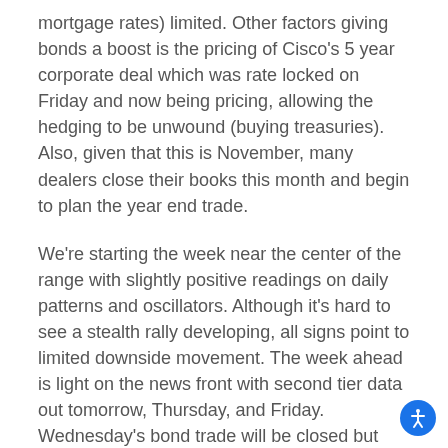mortgage rates) limited. Other factors giving bonds a boost is the pricing of Cisco's 5 year corporate deal which was rate locked on Friday and now being pricing, allowing the hedging to be unwound (buying treasuries). Also, given that this is November, many dealers close their books this month and begin to plan the year end trade.
We're starting the week near the center of the range with slightly positive readings on daily patterns and oscillators. Although it's hard to see a stealth rally developing, all signs point to limited downside movement. The week ahead is light on the news front with second tier data out tomorrow, Thursday, and Friday. Wednesday's bond trade will be closed but stocks will be open.